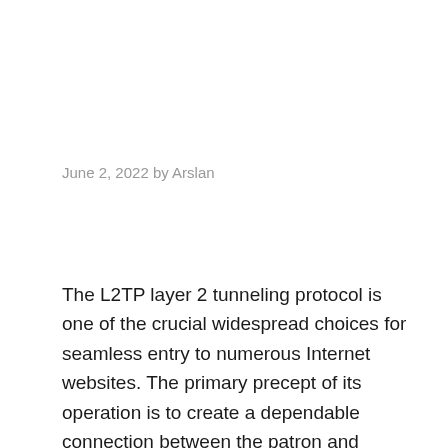June 2, 2022 by Arslan
The L2TP layer 2 tunneling protocol is one of the crucial widespread choices for seamless entry to numerous Internet websites. The primary precept of its operation is to create a dependable connection between the patron and